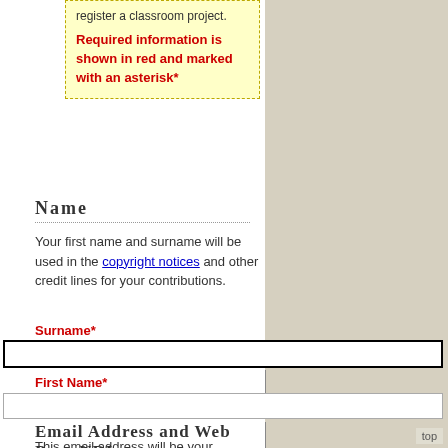register a classroom project.
Required information is shown in red and marked with an asterisk*
Name
Your first name and surname will be used in the copyright notices and other credit lines for your contributions.
Surname*
First Name*
Email Address and Web Page URL
This email address will be your